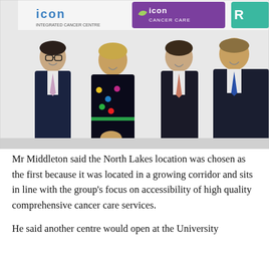[Figure (photo): Four people (three men in dark suits, one woman in a dark patterned dress) standing and smiling in front of a wall with Icon Integrated Cancer Centre and Icon Cancer Care logos visible.]
Mr Middleton said the North Lakes location was chosen as the first because it was located in a growing corridor and sits in line with the group's focus on accessibility of high quality comprehensive cancer care services.
He said another centre would open at the University